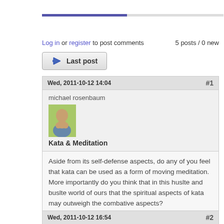[Figure (other): Progress bar, partially filled in purple/blue, on a gray track]
Log in or register to post comments    5 posts / 0 new
[Figure (other): Last post button with right arrow icon]
| Wed, 2011-10-12 14:04 | #1 |
| michael rosenbaum |  |
| Kata & Meditation |  |
| Aside from its self-defense aspects, do any of you feel that kata can be used as a form of moving meditation. More importantly do you think that in this huslte and buslte world of ours that the spiritual aspects of kata may outweigh the combative aspects? |  |
[Figure (other): Top button with upward arrow icon]
10866 reads  Log in or register to post comments
Wed, 2011-10-12 16:54    #2